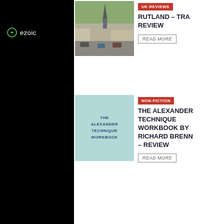[Figure (screenshot): Ezoic logo on dark left panel]
[Figure (photo): Street scene photo thumbnail for Rutland travel review]
UK REVIEWS
RUTLAND – TRA REVIEW
READ MORE
[Figure (illustration): Book cover: The Alexander Technique Workbook]
NON-FICTION
THE ALEXANDER TECHNIQUE WORKBOOK BY RICHARD BRENN – REVIEW
READ MORE
[Figure (photo): Dark car photo thumbnail for Car Reviews]
CAR REVIEWS
CONTACT US   CON
© Copyright
Search for
1.   CHEAP FARM EQUIPMENTS
2.   CHEAP GARDENING TOOLS